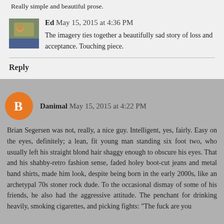Really simple and beautiful prose.
Ed  May 15, 2015 at 4:36 PM
The imagery ties together a beautifully sad story of loss and acceptance. Touching piece.
Reply
Danimal  May 15, 2015 at 4:22 PM
Brian Segersen was not, really, a nice guy. Intelligent, yes, fairly. Easy on the eyes, definitely; a lean, fit young man standing six foot two, who usually left his straight blond hair shaggy enough to obscure his eyes. That and his shabby-retro fashion sense, faded holey boot-cut jeans and metal band shirts, made him look, despite being born in the early 2000s, like an archetypal 70s stoner rock dude. To the occasional dismay of some of his friends, he also had the aggressive attitude. The penchant for drinking heavily, smoking cigarettes, and picking fights: “The fuck are you